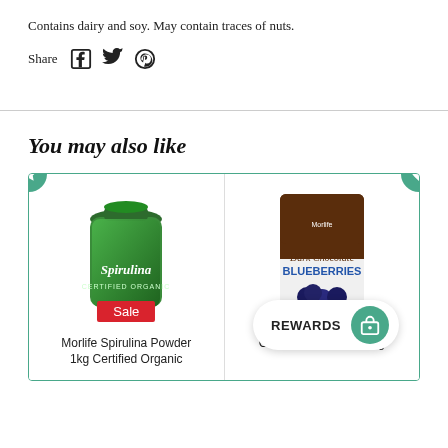Contains dairy and soy. May contain traces of nuts.
Share
You may also like
[Figure (photo): Product card for Morlife Spirulina Powder 1kg Certified Organic with Sale badge and star wishlist icon]
Morlife Spirulina Powder
1kg Certified Organic
[Figure (photo): Product card for Dark Chocolate Blueberries Chocolate Coated 125g with heart wishlist icon and Rewards button overlay]
Chocolate Coated 125g